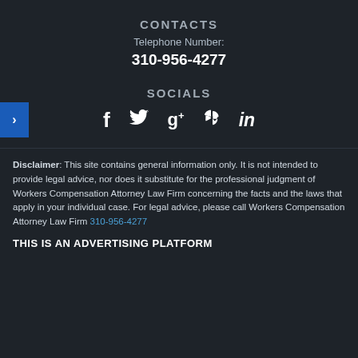CONTACTS
Telephone Number:
310-956-4277
SOCIALS
[Figure (infographic): Social media icons: Facebook, Twitter, Google+, Yelp, LinkedIn. A blue navigation arrow on the left side.]
Disclaimer: This site contains general information only. It is not intended to provide legal advice, nor does it substitute for the professional judgment of Workers Compensation Attorney Law Firm concerning the facts and the laws that apply in your individual case. For legal advice, please call Workers Compensation Attorney Law Firm 310-956-4277
THIS IS AN ADVERTISING PLATFORM